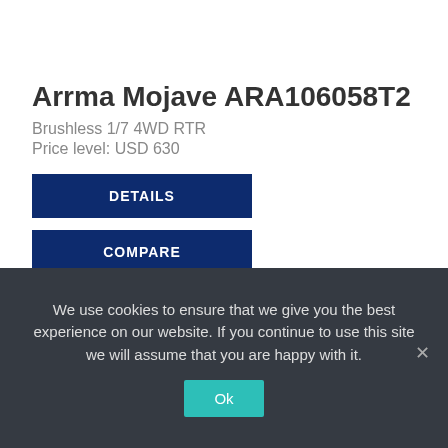Arrma Mojave ARA106058T2
Brushless 1/7 4WD RTR
Price level: USD 630
DETAILS
COMPARE
We use cookies to ensure that we give you the best experience on our website. If you continue to use this site we will assume that you are happy with it.
Ok